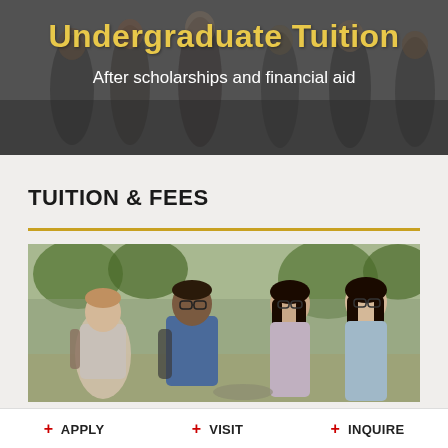Undergraduate Tuition
After scholarships and financial aid
TUITION & FEES
[Figure (photo): Group of four college students — two male, two female — looking at something together outdoors on a sunny campus with trees in background.]
+ APPLY  + VISIT  + INQUIRE